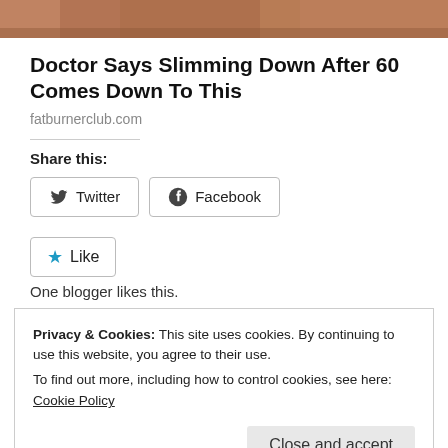[Figure (photo): Partial photo strip at top of page showing a person outdoors on what appears to be a wooden deck]
Doctor Says Slimming Down After 60 Comes Down To This
fatburnerclub.com
Share this:
Twitter  Facebook
Like  One blogger likes this.
Privacy & Cookies: This site uses cookies. By continuing to use this website, you agree to their use. To find out more, including how to control cookies, see here: Cookie Policy
Close and accept